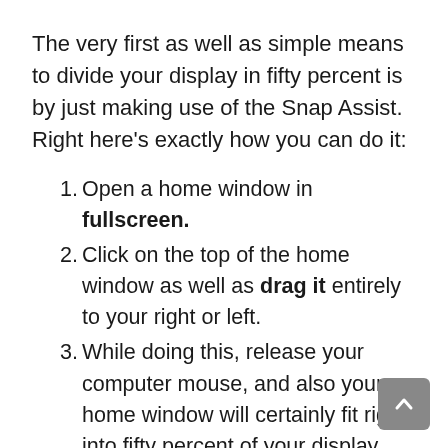The very first as well as simple means to divide your display in fifty percent is by just making use of the Snap Assist. Right here's exactly how you can do it:
Open a home window in fullscreen.
Click on the top of the home window as well as drag it entirely to your right or left.
While doing this, release your computer mouse, and also your home window will certainly fit right into fifty percent of your display.
You'll currently see a void where you